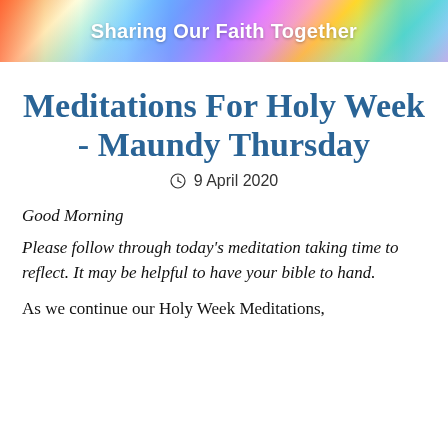Sharing Our Faith Together
Meditations For Holy Week - Maundy Thursday
9 April 2020
Good Morning
Please follow through today's meditation taking time to reflect. It may be helpful to have your bible to hand.
As we continue our Holy Week Meditations,